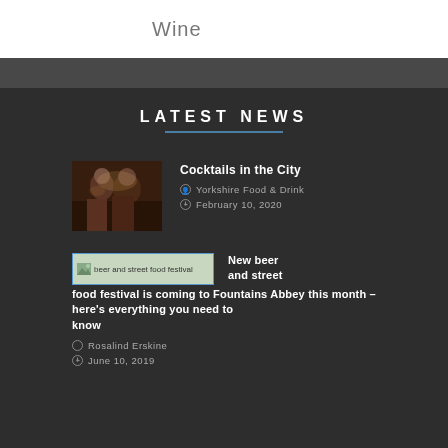Wine
LATEST NEWS
[Figure (photo): Photo of people at a cocktail bar event, dimly lit]
Cocktails in the City
Yorkshire Food & Drink
February 10, 2020
[Figure (photo): Broken image placeholder labeled 'beer and street food festival']
New beer and street food festival is coming to Fountains Abbey this month – here's everything you need to know
Rosalind Erskine
June 10, 2019